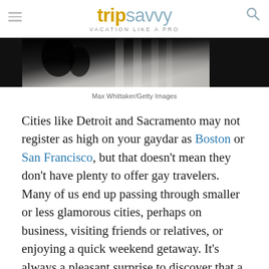tripsavvy VACATION LIKE A PRO
[Figure (photo): Partial photo of a building with columns and people, cropped at top]
Max Whittaker/Getty Images
Cities like Detroit and Sacramento may not register as high on your gaydar as Boston or San Francisco, but that doesn't mean they don't have plenty to offer gay travelers. Many of us end up passing through smaller or less glamorous cities, perhaps on business, visiting friends or relatives, or enjoying a quick weekend getaway. It's always a pleasant surprise to discover that a